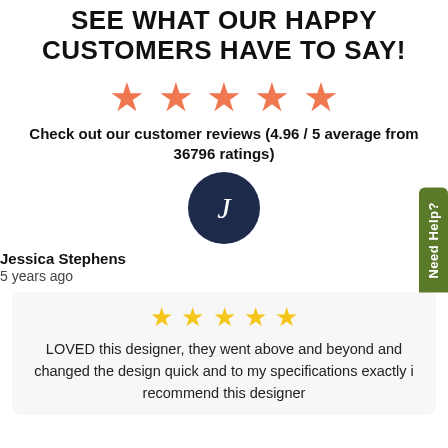SEE WHAT OUR HAPPY CUSTOMERS HAVE TO SAY!
[Figure (illustration): Five orange/salmon star icons representing a 5-star rating]
Check out our customer reviews (4.96 / 5 average from 36796 ratings)
[Figure (illustration): Dark navy circle avatar with italic letter J]
Jessica Stephens
5 years ago
[Figure (illustration): Five yellow star icons inside a review card]
LOVED this designer, they went above and beyond and changed the design quick and to my specifications exactly i recommend this designer